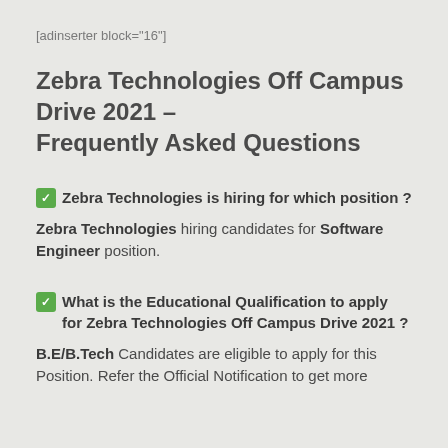[adinserter block="16"]
Zebra Technologies Off Campus Drive 2021 – Frequently Asked Questions
✅ Zebra Technologies is hiring for which position ?
Zebra Technologies hiring candidates for Software Engineer position.
✅ What is the Educational Qualification to apply for Zebra Technologies Off Campus Drive 2021 ?
B.E/B.Tech Candidates are eligible to apply for this Position. Refer the Official Notification to get more